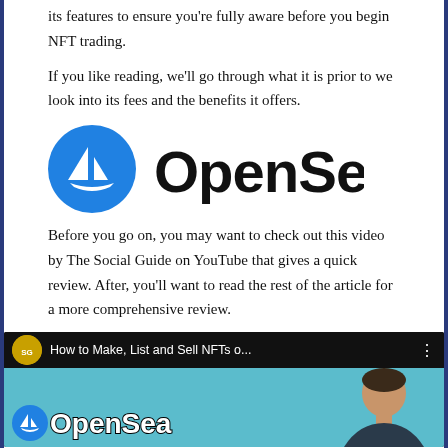its features to ensure you're fully aware before you begin NFT trading.
If you like reading, we'll go through what it is prior to we look into its fees and the benefits it offers.
[Figure (logo): OpenSea logo: blue circle with white sailboat icon on left, 'OpenSea' text in bold black on right]
Before you go on, you may want to check out this video by The Social Guide on YouTube that gives a quick review. After, you'll want to read the rest of the article for a more comprehensive review.
[Figure (screenshot): YouTube video thumbnail showing 'How to Make, List and Sell NFTs o...' by The Social Guide channel, with OpenSea branding and a person's face on a teal background]